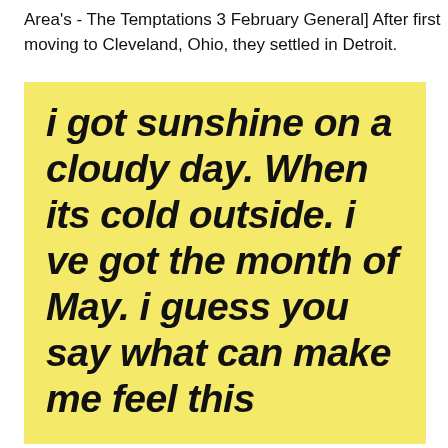Area's - The Temptations 3 February General] After first moving to Cleveland, Ohio, they settled in Detroit.
[Figure (illustration): Yellow background image with large bold italic black text displaying song lyrics: 'i got sunshine on a cloudy day. When its cold outside. i ve got the month of May. i guess you say what can make me feel this']